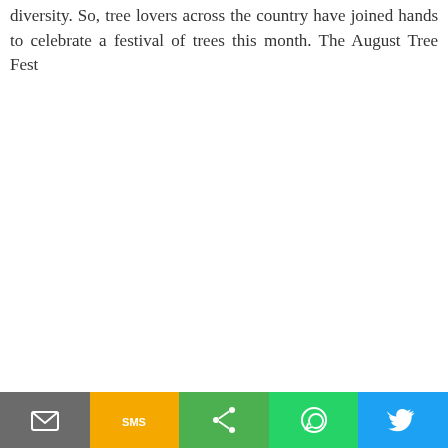diversity. So, tree lovers across the country have joined hands to celebrate a festival of trees this month. The August Tree Fest
[Figure (other): Social sharing toolbar at the bottom with five buttons: Email (grey), SMS (orange/yellow), Share (green), WhatsApp (green), Twitter (blue)]